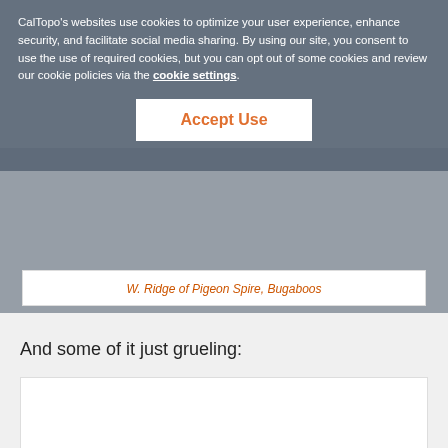CalTopo's websites use cookies to optimize your user experience, enhance security, and facilitate social media sharing. By using our site, you consent to use the use of required cookies, but you can opt out of some cookies and review our cookie policies via the cookie settings.
[Figure (screenshot): Accept Use button - white button with orange text on cookie consent overlay]
W. Ridge of Pigeon Spire, Bugaboos
And some of it just grueling:
[Figure (photo): Partially visible white image frame at bottom of page]